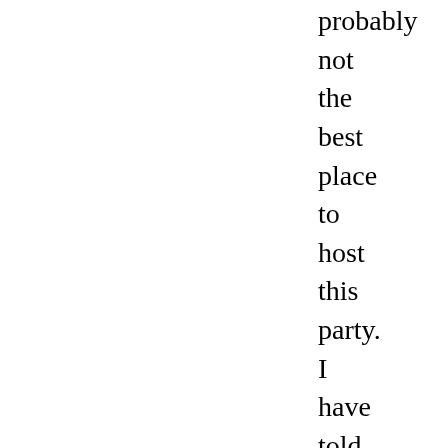probably not the best place to host this party. I have told several people today that they should